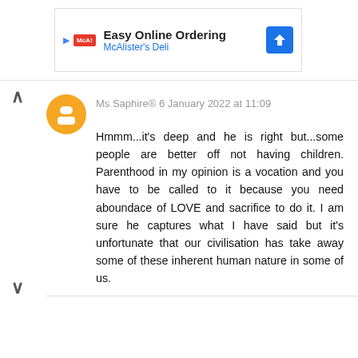[Figure (screenshot): Advertisement banner for McAlister's Deli with text 'Easy Online Ordering' and 'McAlister's Deli']
Ms Saphire® 6 January 2022 at 11:09
Hmmm...it's deep and he is right but...some people are better off not having children. Parenthood in my opinion is a vocation and you have to be called to it because you need aboundace of LOVE and sacrifice to do it. I am sure he captures what I have said but it's unfortunate that our civilisation has take away some of these inherent human nature in some of us.